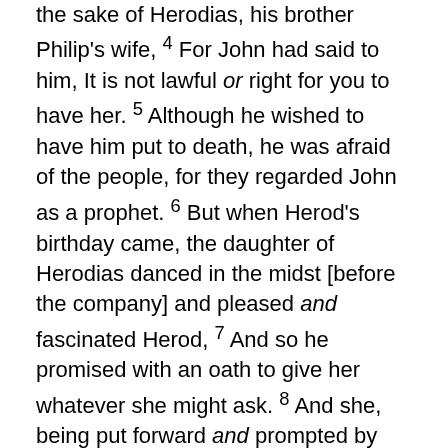the sake of Herodias, his brother Philip's wife, 4 For John had said to him, It is not lawful or right for you to have her. 5 Although he wished to have him put to death, he was afraid of the people, for they regarded John as a prophet. 6 But when Herod's birthday came, the daughter of Herodias danced in the midst [before the company] and pleased and fascinated Herod, 7 And so he promised with an oath to give her whatever she might ask. 8 And she, being put forward and prompted by her mother, said, Give me the head of John the Baptist right here on a [c]platter. 9 And the king was distressed and sorry, but because of his oaths and his guests, he ordered it to be given her; 10 He sent and had John beheaded in the prison. 11 And his head was brought in on a [d]platter and given [e]to the little maid, and she brought it to her mother. 12 And John's disciples came and took up the body and buried it. Then they went and told Jesus. 13 When Jesus heard it, He